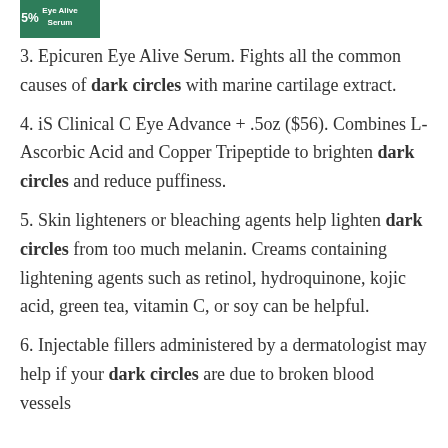[Figure (logo): Epicuren Eye Alive Serum product logo with green background and text 'Eye Alive Serum']
3. Epicuren Eye Alive Serum. Fights all the common causes of dark circles with marine cartilage extract.
4. iS Clinical C Eye Advance + .5oz ($56). Combines L-Ascorbic Acid and Copper Tripeptide to brighten dark circles and reduce puffiness.
5. Skin lighteners or bleaching agents help lighten dark circles from too much melanin. Creams containing lightening agents such as retinol, hydroquinone, kojic acid, green tea, vitamin C, or soy can be helpful.
6. Injectable fillers administered by a dermatologist may help if your dark circles are due to broken blood vessels